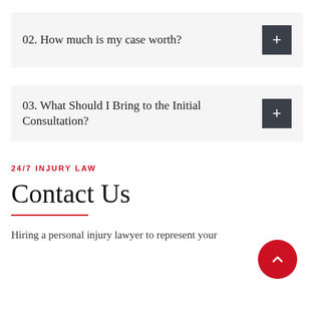02. How much is my case worth?
03. What Should I Bring to the Initial Consultation?
24/7 INJURY LAW
Contact Us
Hiring a personal injury lawyer to represent your